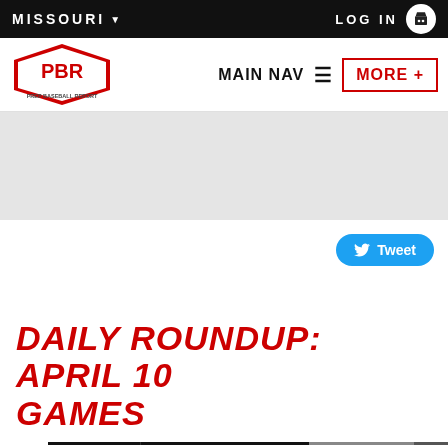MISSOURI ▼   LOG IN
[Figure (logo): PBR Prep Baseball Report logo with MAIN NAV hamburger menu and MORE+ button]
[Figure (other): Grey advertisement banner area]
[Figure (other): Tweet button (blue rounded pill with Twitter bird icon)]
DAILY ROUNDUP: APRIL 10 GAMES
Fri A... OUR GAME. OUR GEAR. SHOP NOW